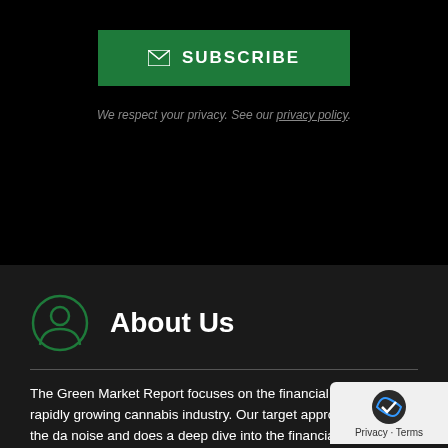[Figure (other): Green SUBSCRIBE button with envelope icon]
We respect your privacy. See our privacy policy.
About Us
The Green Market Report focuses on the financial news of the rapidly growing cannabis industry. Our target approach filters out the daily noise and does a deep dive into the financial, business and economic side of the cannabis industry. Our team is cultivating the industry's critical news into one source and providing open source insights and